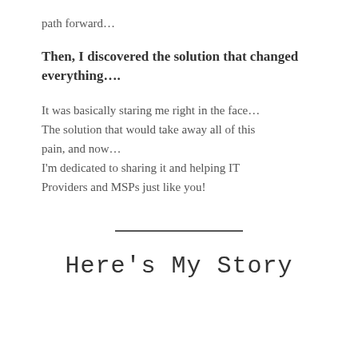path forward…
Then, I discovered the solution that changed everything….
It was basically staring me right in the face… The solution that would take away all of this pain, and now… I'm dedicated to sharing it and helping IT Providers and MSPs just like you!
Here's My Story